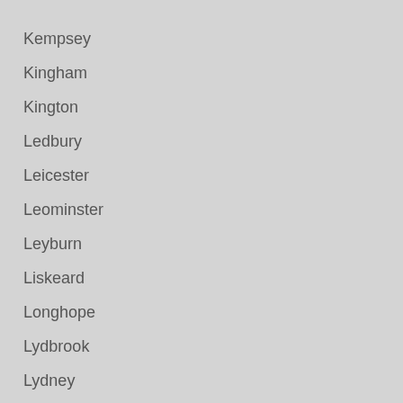Kempsey
Kingham
Kington
Ledbury
Leicester
Leominster
Leyburn
Liskeard
Longhope
Lydbrook
Lydney
Malvern
Malvern Suckley
Mansfield
Marden
Minchinhampton